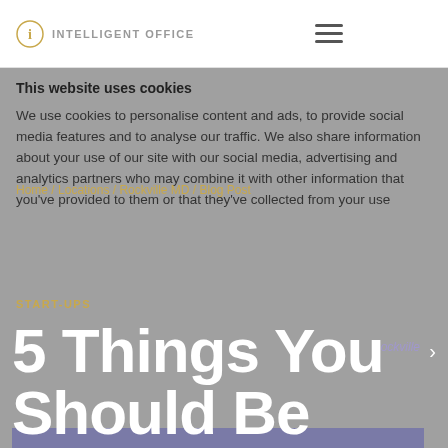INTELLIGENT OFFICE
This website uses cookies

We use cookies to personalise content and ads, to provide social media features and to analyse our traffic. We also share information about your use of our site with our social media, advertising and analytics partners who may combine it with other information that you've provided to them or that they've collected from your use
Home / Locations / Rockville MD / Blog Post
START-UPS
5 Things You Should Be